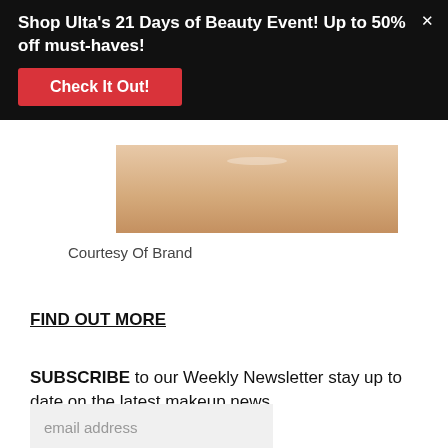Shop Ulta's 21 Days of Beauty Event! Up to 50% off must-haves!
Check It Out!
[Figure (photo): Close-up photo of lower face showing lips and chin area]
Courtesy Of Brand
FIND OUT MORE
SUBSCRIBE to our Weekly Newsletter stay up to date on the latest makeup news
email address